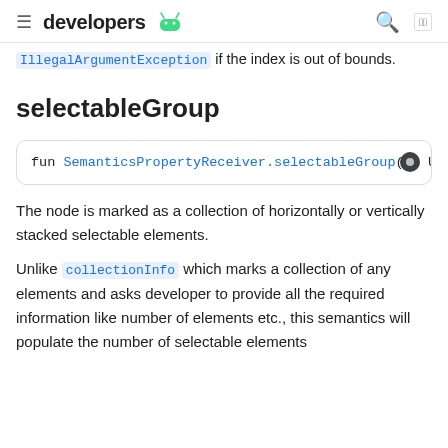developers [android icon] [search] [language]
IllegalArgumentException if the index is out of bounds.
selectableGroup
fun SemanticsPropertyReceiver.selectableGroup(): Uni
The node is marked as a collection of horizontally or vertically stacked selectable elements.
Unlike collectionInfo which marks a collection of any elements and asks developer to provide all the required information like number of elements etc., this semantics will populate the number of selectable elements